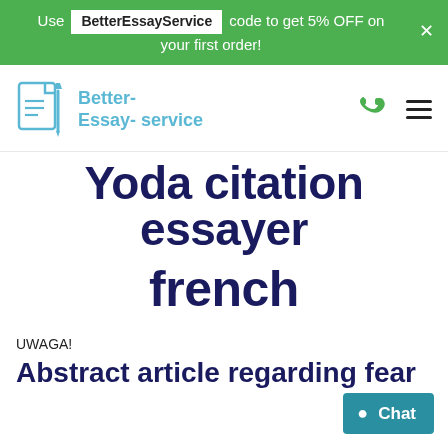Use BetterEssayService code to get 5% OFF on your first order!
[Figure (logo): Better-Essay-service logo with document and pen icon in light blue]
Yoda citation essayer french
UWAGA!
Abstract article regarding fear